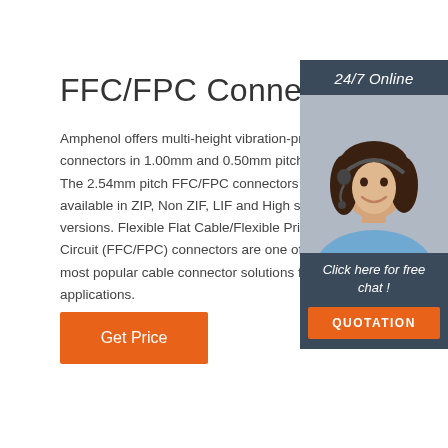FFC/FPC Connectors
Amphenol offers multi-height vibration-pro connectors in 1.00mm and 0.50mm pitch s The 2.54mm pitch FFC/FPC connectors a available in ZIP, Non ZIF, LIF and High spe versions. Flexible Flat Cable/Flexible Print Circuit (FFC/FPC) connectors are one of t most popular cable connector solutions fo applications.
[Figure (photo): Woman with headset customer service representative, used as online chat support illustration]
24/7 Online
Click here for free chat !
QUOTATION
Get Price